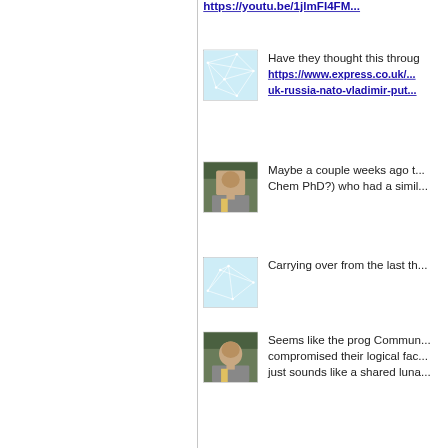https://youtu.be/1jlmFI4FM...
[Figure (illustration): Network graph avatar with light blue background and white interconnected lines]
Have they thought this through... https://www.express.co.uk/... uk-russia-nato-vladimir-put...
[Figure (photo): Profile photo of a man outdoors]
Maybe a couple weeks ago t... Chem PhD?) who had a simil...
[Figure (illustration): Network graph avatar with light blue background and white interconnected lines]
Carrying over from the last th...
[Figure (photo): Profile photo of a man outdoors]
Seems like the prog Commun... compromised their logical fac... just sounds like a shared luna...